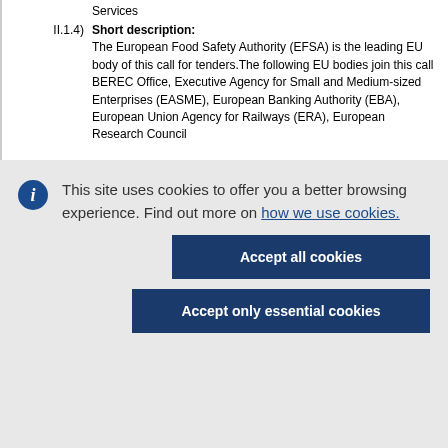Services
II.1.4) Short description: The European Food Safety Authority (EFSA) is the leading EU body of this call for tenders. The following EU bodies join this call BEREC Office, Executive Agency for Small and Medium-sized Enterprises (EASME), European Banking Authority (EBA), European Union Agency for Railways (ERA), European Research Council
This site uses cookies to offer you a better browsing experience. Find out more on how we use cookies.
Accept all cookies
Accept only essential cookies